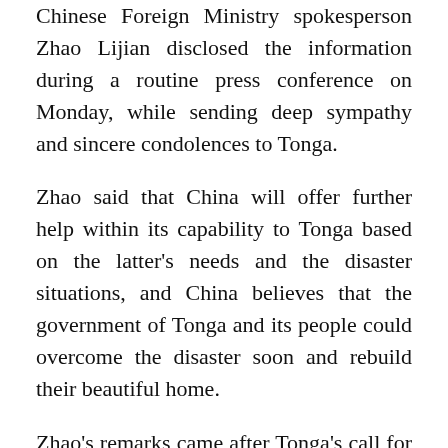Chinese Foreign Ministry spokesperson Zhao Lijian disclosed the information during a routine press conference on Monday, while sending deep sympathy and sincere condolences to Tonga.
Zhao said that China will offer further help within its capability to Tonga based on the latter's needs and the disaster situations, and China believes that the government of Tonga and its people could overcome the disaster soon and rebuild their beautiful home.
Zhao's remarks came after Tonga's call for "immediate assistance" to provide its people with fresh drinking water and food, read a statement released by Lord Fakafanua, speaker of the legislative assembly of Tonga, earlier on Monday, as the world sent thoughts and prayers to the South Pacific country after...